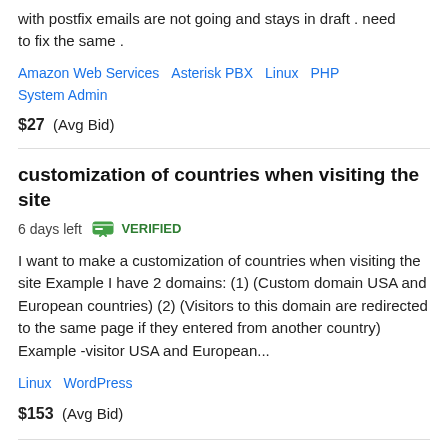with postfix emails are not going and stays in draft . need to fix the same .
Amazon Web Services   Asterisk PBX   Linux   PHP   System Admin
$27  (Avg Bid)
customization of countries when visiting the site
6 days left   VERIFIED
I want to make a customization of countries when visiting the site Example I have 2 domains: (1) (Custom domain USA and European countries) (2) (Visitors to this domain are redirected to the same page if they entered from another country) Example -visitor USA and European...
Linux   WordPress
$153  (Avg Bid)